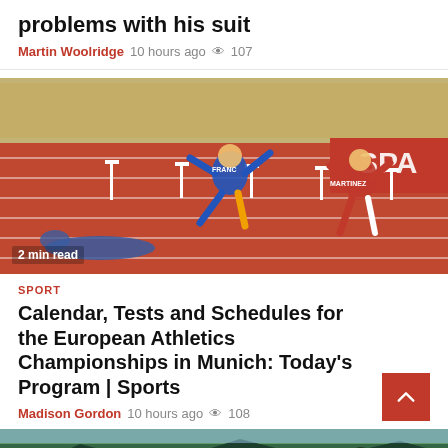problems with his suit
Martin Woolridge  10 hours ago  👁 107
[Figure (photo): Athletes competing in a hurdles race at the European Athletics Championships in Munich. One athlete has fallen on the track while two others leap over hurdles. Stadium seats visible in background. Red SPA advertisement banner on right.]
2 min read
SPORT
Calendar, Tests and Schedules for the European Athletics Championships in Munich: Today's Program | Sports
Madison Gordon  10 hours ago  👁 108
[Figure (photo): Partial view of a landscape photo showing mountains or hills with green trees, visible at bottom of page.]